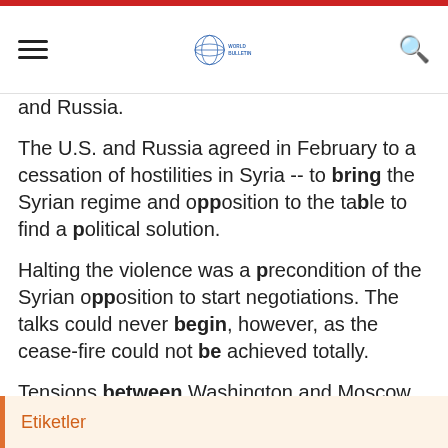World Bulletin
and Russia.
The U.S. and Russia agreed in February to a cessation of hostilities in Syria -- to bring the Syrian regime and opposition to the table to find a political solution.
Halting the violence was a precondition of the Syrian opposition to start negotiations. The talks could never begin, however, as the cease-fire could not be achieved totally.
Tensions between Washington and Moscow flared Monday after the U.S. announced it suspended bilateral cooperation.
Etiketler